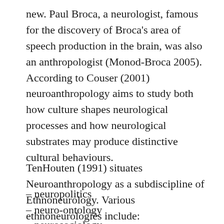new. Paul Broca, a neurologist, famous for the discovery of Broca's area of speech production in the brain, was also an anthropologist (Monod-Broca 2005). According to Couser (2001) neuroanthropology aims to study both how culture shapes neurological processes and how neurological substrates may produce distinctive cultural behaviours.
TenHouten (1991) situates Neuroanthropology as a subdiscipline of Ethnoneurology. Various ethnoneurologies include:
– neuropolitics
– neuro-ontology
– neurosociology
– neuroaesthetics
– neuroeconomics